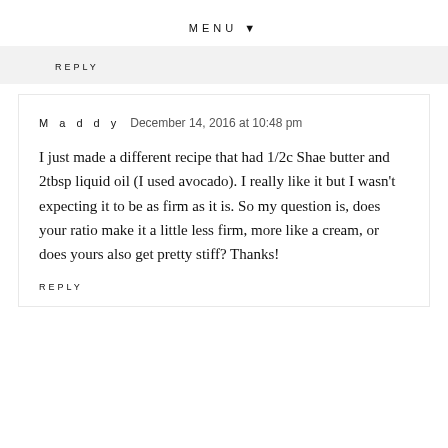MENU ▼
REPLY
Maddy   December 14, 2016 at 10:48 pm
I just made a different recipe that had 1/2c Shae butter and 2tbsp liquid oil (I used avocado). I really like it but I wasn't expecting it to be as firm as it is. So my question is, does your ratio make it a little less firm, more like a cream, or does yours also get pretty stiff? Thanks!
REPLY